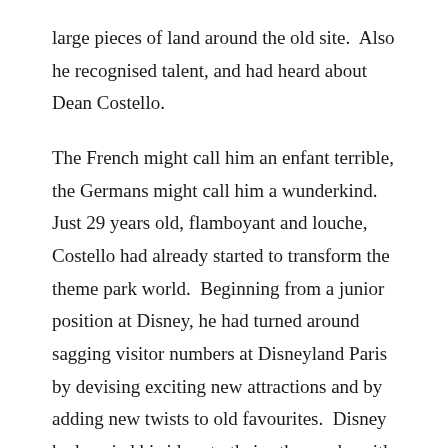large pieces of land around the old site.  Also he recognised talent, and had heard about Dean Costello.
The French might call him an enfant terrible, the Germans might call him a wunderkind.  Just 29 years old, flamboyant and louche, Costello had already started to transform the theme park world.  Beginning from a junior position at Disney, he had turned around sagging visitor numbers at Disneyland Paris by devising exciting new attractions and by adding new twists to old favourites.  Disney had copied his ideas to their other parks with great success, and Costello had been well rewarded.
But he felt he had outgrown the Company, and the Company, becoming wary of his increasingly ambitious